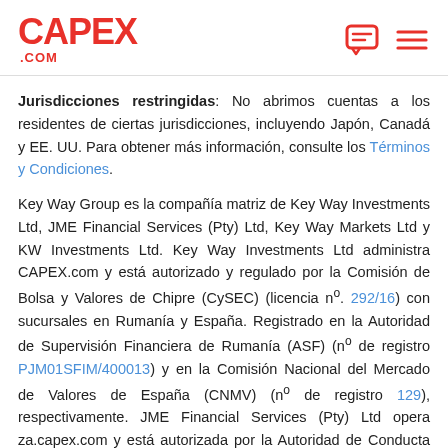CAPEX.COM
Jurisdicciones restringidas: No abrimos cuentas a los residentes de ciertas jurisdicciones, incluyendo Japón, Canadá y EE. UU. Para obtener más información, consulte los Términos y Condiciones.
Key Way Group es la compañía matriz de Key Way Investments Ltd, JME Financial Services (Pty) Ltd, Key Way Markets Ltd y KW Investments Ltd. Key Way Investments Ltd administra CAPEX.com y está autorizado y regulado por la Comisión de Bolsa y Valores de Chipre (CySEC) (licencia nº. 292/16) con sucursales en Rumanía y España. Registrado en la Autoridad de Supervisión Financiera de Rumanía (ASF) (nº de registro PJM01SFIM/400013) y en la Comisión Nacional del Mercado de Valores de España (CNMV) (nº de registro 129), respectivamente. JME Financial Services (Pty) Ltd opera za.capex.com y está autorizada por la Autoridad de Conducta del Sector Financiero de Sudáfrica (FSCA) (licencia nº 37166). Key Way Markets Ltd opera ae.capex.com y está autorizada y regulada por la Autoridad Regulatoria de Servicios Financieros de Mercados